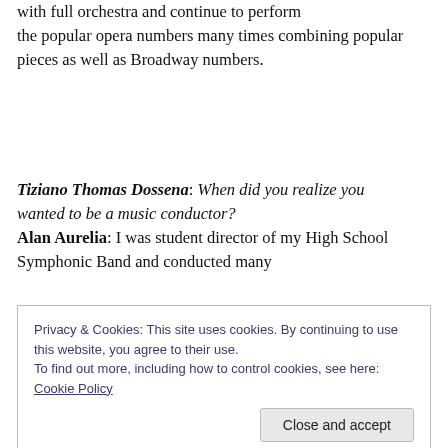with full orchestra and continue to perform the popular opera numbers many times combining popular pieces as well as Broadway numbers.
Tiziano Thomas Dossena: When did you realize you wanted to be a music conductor? Alan Aurelia: I was student director of my High School Symphonic Band and conducted many
Privacy & Cookies: This site uses cookies. By continuing to use this website, you agree to their use. To find out more, including how to control cookies, see here: Cookie Policy